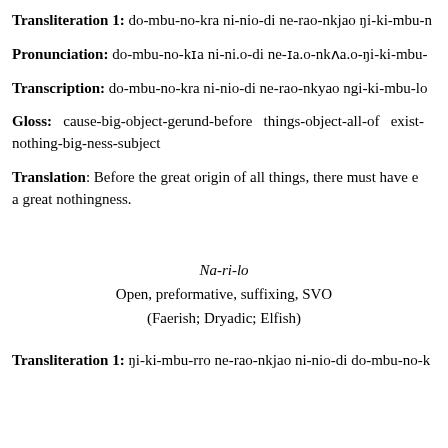Transliteration 1: do-mbu-no-kra ni-nio-di ne-rao-nkjao ŋi-ki-mbu-n...
Pronunciation: do-mbu-no-kɪa ni-ni.o-di ne-ɪa.o-nkʌa.o-ŋi-ki-mbu-...
Transcription: do-mbu-no-kra ni-nio-di ne-rao-nkyao ngi-ki-mbu-lo...
Gloss: cause-big-object-gerund-before things-object-all-of exist-... nothing-big-ness-subject
Translation: Before the great origin of all things, there must have e... a great nothingness.
Na-ri-lo
Open, preformative, suffixing, SVO
(Faerish; Dryadic; Elfish)
Transliteration 1: ŋi-ki-mbu-rro ne-rao-nkjao ni-nio-di do-mbu-no-k...